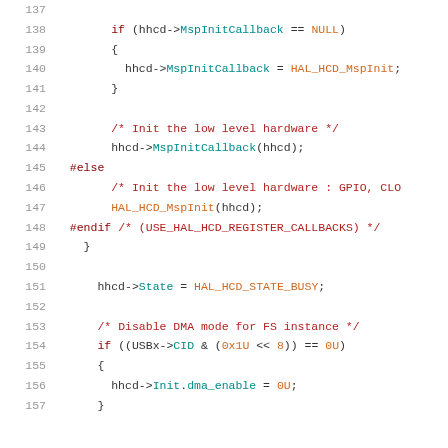[Figure (screenshot): Source code listing in C showing lines 137-157 of a HAL HCD (Host Controller Driver) implementation. Code features syntax highlighting: line numbers in gray, keywords/preprocessor directives in dark red, struct member accesses in teal, function names in purple, constants/values in orange-red, and comments in red. The code handles MspInitCallback initialization, low-level hardware init, and DMA mode disabling for FS instance.]